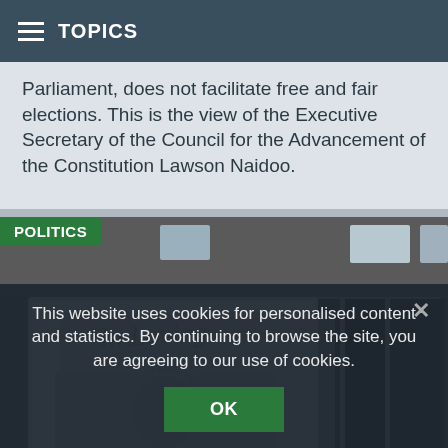TOPICS
Parliament, does not facilitate free and fair elections. This is the view of the Executive Secretary of the Council for the Advancement of the Constitution Lawson Naidoo.
[Figure (photo): A funeral scene showing an 'In Loving Memory' programme booklet for Mabel Petronella (Senior) in the foreground, with a large hall set up with black-draped chairs and tables for a funeral reception in the background, and a person in a green coat standing in the aisle.]
This website uses cookies for personalised content and statistics. By continuing to browse the site, you are agreeing to our use of cookies.